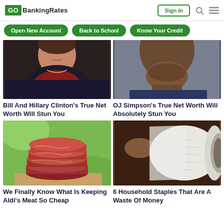GO BankingRates — Sign In
Open New Account
Back to School
Know Your Credit
[Figure (photo): Partial photo of a woman wearing a necklace and dark jacket over red top — Clinton article thumbnail]
Bill And Hillary Clinton's True Net Worth Will Stun You
[Figure (photo): Partial photo of a man's face/chin area — OJ Simpson article thumbnail]
OJ Simpson's True Net Worth Will Absolutely Stun You
[Figure (photo): Stack of raw red meat cuts on a wooden surface with green background — Aldi meat article thumbnail]
We Finally Know What Is Keeping Aldi's Meat So Cheap
[Figure (photo): A roll of white paper towels being held — household staples article thumbnail]
6 Household Staples That Are A Waste Of Money